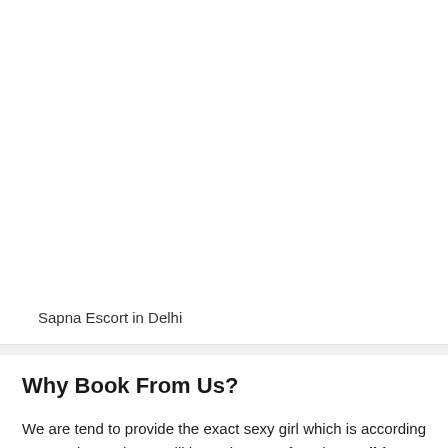Sapna Escort in Delhi
Why Book From Us?
We are tend to provide the exact sexy girl which is according to your demand. You will have the one of Sexiest Delhi